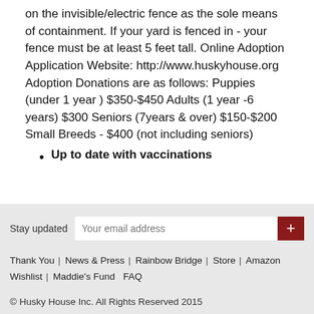on the invisible/electric fence as the sole means of containment. If your yard is fenced in - your fence must be at least 5 feet tall. Online Adoption Application Website: http://www.huskyhouse.org Adoption Donations are as follows: Puppies (under 1 year ) $350-$450 Adults (1 year -6 years) $300 Seniors (7years & over) $150-$200 Small Breeds - $400 (not including seniors)
Up to date with vaccinations
Stay updated  Your email address
Thank You  News & Press  Rainbow Bridge  Store  Amazon Wishlist  Maddie's Fund  FAQ
© Husky House Inc. All Rights Reserved 2015